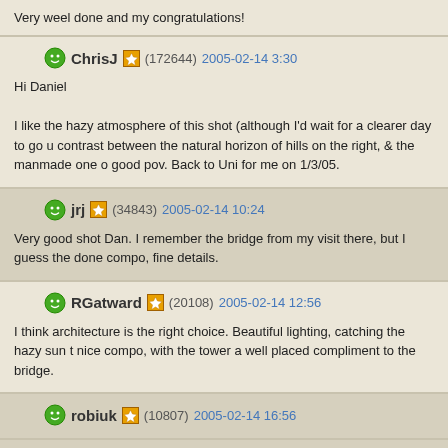Very weel done and my congratulations!
ChrisJ (172644) 2005-02-14 3:30
Hi Daniel

I like the hazy atmosphere of this shot (although I'd wait for a clearer day to go u contrast between the natural horizon of hills on the right, & the manmade one o good pov. Back to Uni for me on 1/3/05.
jrj (34843) 2005-02-14 10:24
Very good shot Dan. I remember the bridge from my visit there, but I guess the done compo, fine details.
RGatward (20108) 2005-02-14 12:56
I think architecture is the right choice. Beautiful lighting, catching the hazy sun t nice compo, with the tower a well placed compliment to the bridge.
robiuk (10807) 2005-02-14 16:56